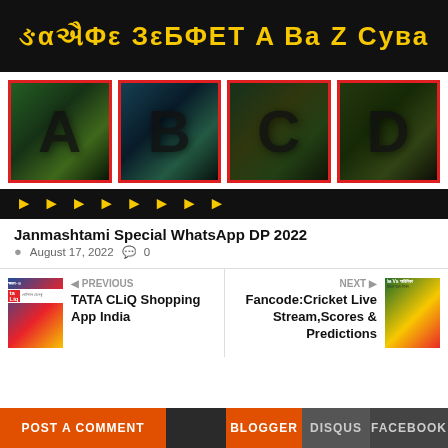[Figure (illustration): Black banner with Gujarati/decorative yellow text - Janmashtami WhatsApp DP heading]
[Figure (illustration): Four red-bordered image tiles on black background showing letters A, B, C, D with Lord Krishna decorative imagery]
[Figure (illustration): Black banner with decorative yellow Gujarati text at bottom of image set]
Janmashtami Special WhatsApp DP 2022
August 17, 2022   0
[Figure (illustration): Previous post thumbnail - TATA CLiQ Shopping App India with Gujarati text]
PREVIOUS
TATA CLiQ Shopping App India
[Figure (illustration): Next post thumbnail - India vs Africa cricket live stream with Gujarati text]
NEXT
Fancode:Cricket Live Stream,Scores & Predictions
POST A COMMENT   BLOGGER   DISQUS   FACEBOOK